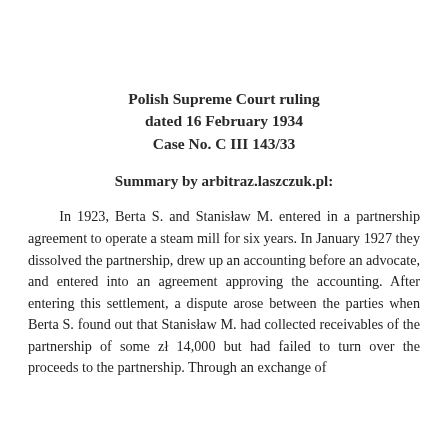Polish Supreme Court ruling dated 16 February 1934 Case No. C III 143/33
Summary by arbitraz.laszczuk.pl:
In 1923, Berta S. and Stanisław M. entered in a partnership agreement to operate a steam mill for six years. In January 1927 they dissolved the partnership, drew up an accounting before an advocate, and entered into an agreement approving the accounting. After entering this settlement, a dispute arose between the parties when Berta S. found out that Stanisław M. had collected receivables of the partnership of some zł 14,000 but had failed to turn over the proceeds to the partnership. Through an exchange of